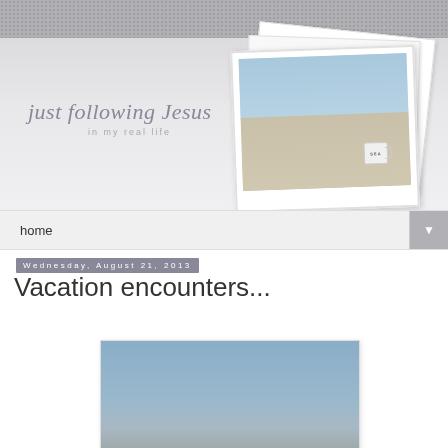[Figure (illustration): Blog header banner with grainy gray top strip, light gray textured background, cursive blog title 'just following Jesus in my real life' on the left, and a stacked photo of a beach scene with a SEA mug on the right]
home
Wednesday, August 21, 2013
Vacation encounters...
[Figure (photo): Partial photo of a beach/ocean scene visible at bottom of page, showing pale blue sky and water]